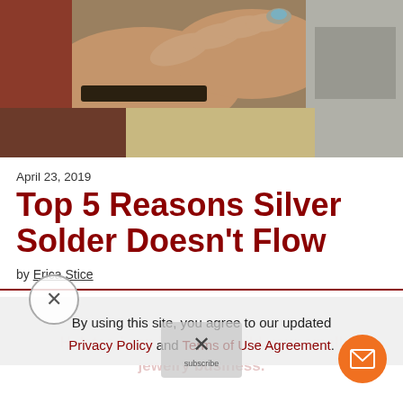[Figure (photo): Close-up photo of hands working with jewelry/soldering material on a surface. A ring with a stone is visible on one finger.]
April 23, 2019
Top 5 Reasons Silver Solder Doesn't Flow
by Erica Stice
By using this site, you agree to our updated Privacy Policy and Terms of Use Agreement.